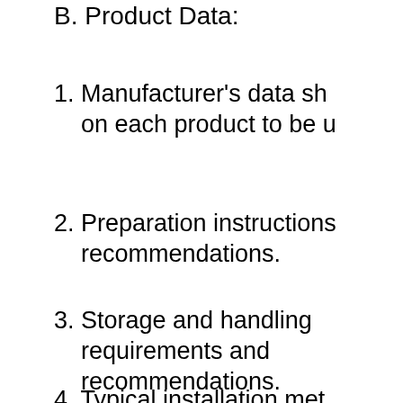B. Product Data:
1. Manufacturer's data sh
   on each product to be u
2. Preparation instructions
   recommendations.
3. Storage and handling
   requirements and
   recommendations.
4. Typical installation met